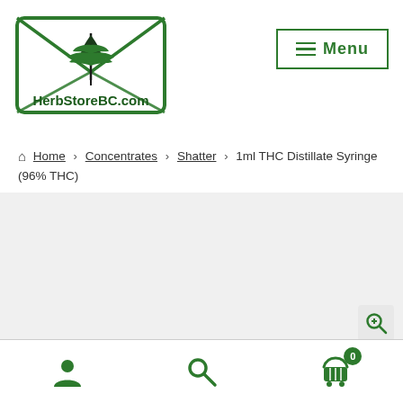[Figure (logo): HerbStoreBC.com logo — envelope with cannabis/maple leaf inside, green border]
☰ Menu
Home › Concentrates › Shatter › 1ml THC Distillate Syringe (96% THC)
[Figure (other): Product image area (gray background with zoom icon)]